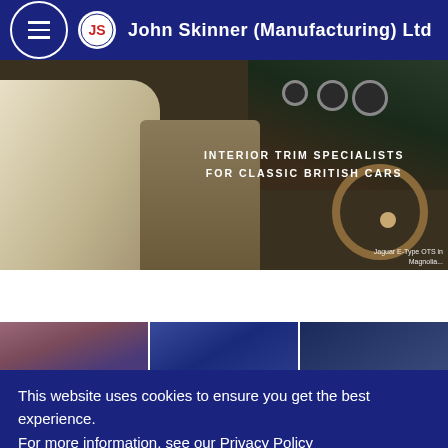John Skinner (Manufacturing) Ltd
[Figure (photo): Classic British car interior showing cream leather seats and wooden steering wheel, Jaguar E-Type OTS interior]
Jaguar E-Type OTS in Magnolia
[Figure (photo): Three thumbnail photos of classic British car interiors]
INTERIOR TRIM SPECIALISTS FOR CLASSIC BRITISH CARS
This website uses cookies to ensure you get the best experience.
For more information, see our Privacy Policy
Got it!